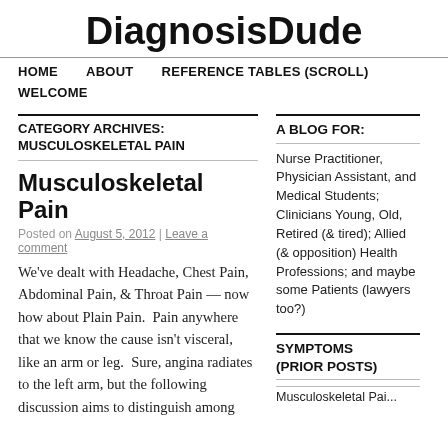DiagnosisDude
HOME   ABOUT   REFERENCE TABLES (SCROLL)   WELCOME
CATEGORY ARCHIVES: MUSCULOSKELETAL PAIN
Musculoskeletal Pain
Posted on August 5, 2012 | Leave a comment
We’ve dealt with Headache, Chest Pain, Abdominal Pain, & Throat Pain — now how about Plain Pain.  Pain anywhere that we know the cause isn’t visceral, like an arm or leg.  Sure, angina radiates to the left arm, but the following discussion aims to distinguish among
A BLOG FOR:
Nurse Practitioner, Physician Assistant, and Medical Students; Clinicians Young, Old, Retired (& tired); Allied (& opposition) Health Professions; and maybe some Patients (lawyers too?)
SYMPTOMS (PRIOR POSTS)
Musculoskeletal Pai...